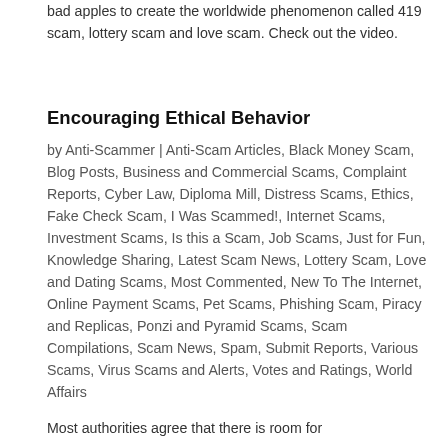bad apples to create the worldwide phenomenon called 419 scam, lottery scam and love scam. Check out the video.
Encouraging Ethical Behavior
by Anti-Scammer | Anti-Scam Articles, Black Money Scam, Blog Posts, Business and Commercial Scams, Complaint Reports, Cyber Law, Diploma Mill, Distress Scams, Ethics, Fake Check Scam, I Was Scammed!, Internet Scams, Investment Scams, Is this a Scam, Job Scams, Just for Fun, Knowledge Sharing, Latest Scam News, Lottery Scam, Love and Dating Scams, Most Commented, New To The Internet, Online Payment Scams, Pet Scams, Phishing Scam, Piracy and Replicas, Ponzi and Pyramid Scams, Scam Compilations, Scam News, Spam, Submit Reports, Various Scams, Virus Scams and Alerts, Votes and Ratings, World Affairs
Most authorities agree that there is room for